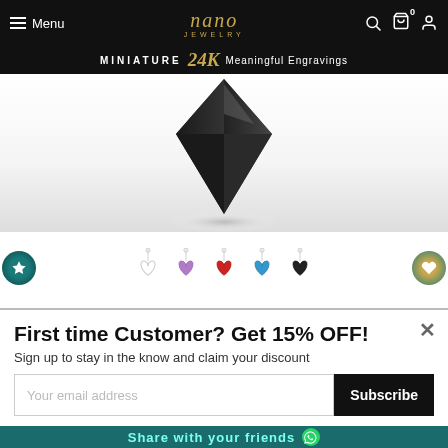Menu | nano JEWELRY | (search) (cart 0) (account)
MINIATURE 24K Meaningful Engravings
[Figure (photo): Large black diamond-shaped gemstone on white background with soft shadow]
[Figure (photo): Row of five heart pendant necklaces in white, purple, red, blue, and black colors]
"I Love You"
14k White Gold Necklace
First time Customer? Get 15% OFF!
Sign up to stay in the know and claim your discount
Your email address
Subscribe
Share with your friends